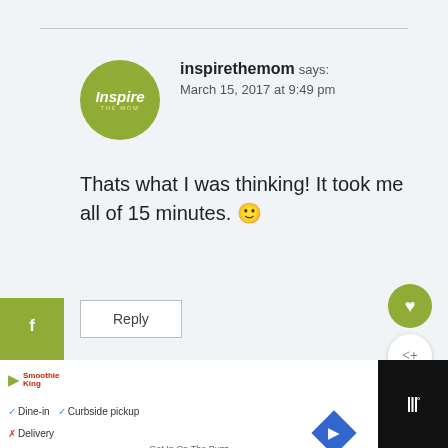inspirethemom says: March 15, 2017 at 9:49 pm
Thats what I was thinking! It took me all of 15 minutes. 🙂
Reply
Tiffany Parry says: March 15, 2017 at 10:26 pm
WHAT'S NEXT → Preparing for a Roadtrip...
Dine-in  Curbside pickup  Delivery
Get In On The Buzz